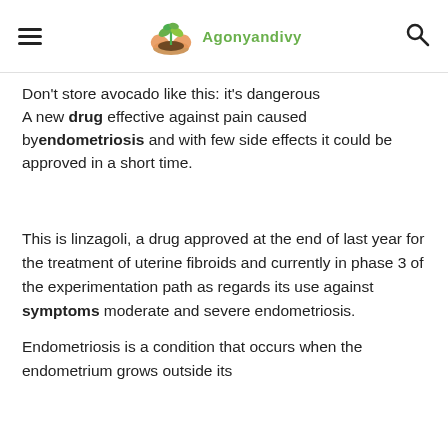Agonyandivy
Don't store avocado like this: it's dangerous
A new drug effective against pain caused by endometriosis and with few side effects it could be approved in a short time.
This is linzagoli, a drug approved at the end of last year for the treatment of uterine fibroids and currently in phase 3 of the experimentation path as regards its use against symptoms moderate and severe endometriosis.
Endometriosis is a condition that occurs when the endometrium grows outside its...